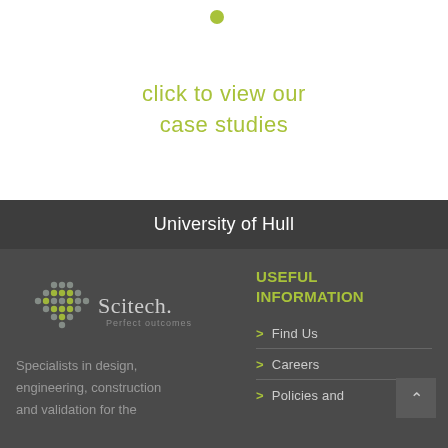[Figure (other): Small olive/yellow-green filled circle dot]
click to view our case studies
University of Hull
[Figure (logo): Scitech logo with diamond dot-pattern icon and text 'Scitech. Perfect outcomes']
USEFUL INFORMATION
Specialists in design, engineering, construction and validation for the
Find Us
Careers
Policies and